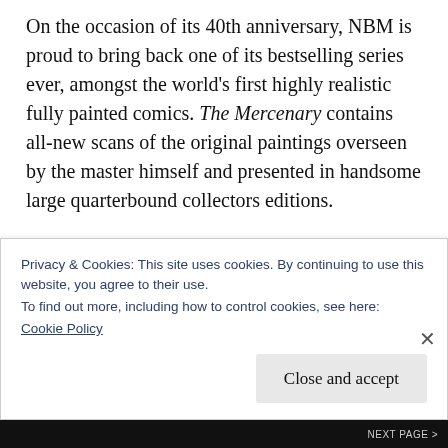On the occasion of its 40th anniversary, NBM is proud to bring back one of its bestselling series ever, amongst the world's first highly realistic fully painted comics. The Mercenary contains all-new scans of the original paintings overseen by the master himself and presented in handsome large quarterbound collectors editions.
In a lost and long forgotten valley high up in the mountains, The Mercenary has been
Privacy & Cookies: This site uses cookies. By continuing to use this website, you agree to their use.
To find out more, including how to control cookies, see here:
Cookie Policy
Close and accept